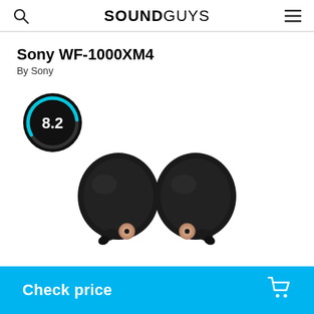SOUNDGUYS
Sony WF-1000XM4
By Sony
[Figure (infographic): Score badge showing 8.2 rating inside a circular progress ring — outer ring is black, inner arc is cyan/turquoise, white text '8.2' in center on black background]
[Figure (photo): Two Sony WF-1000XM4 true wireless earbuds in black/dark colorway with rose gold accents, shown side by side on white background]
Check price